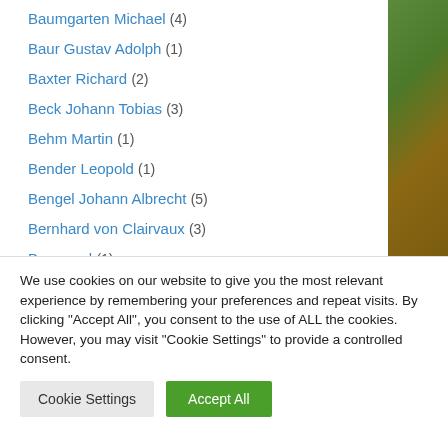Baumgarten Michael (4)
Baur Gustav Adolph (1)
Baxter Richard (2)
Beck Johann Tobias (3)
Behm Martin (1)
Bender Leopold (1)
Bengel Johann Albrecht (5)
Bernhard von Clairvaux (3)
Bernward (1)
We use cookies on our website to give you the most relevant experience by remembering your preferences and repeat visits. By clicking "Accept All", you consent to the use of ALL the cookies. However, you may visit "Cookie Settings" to provide a controlled consent.